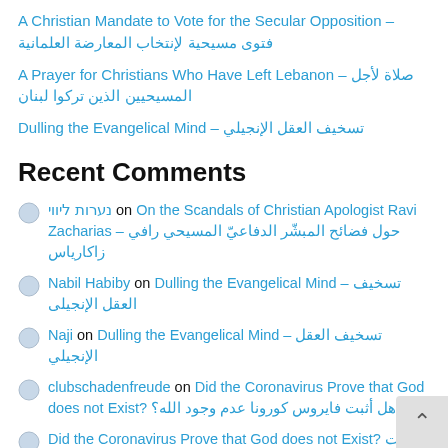A Christian Mandate to Vote for the Secular Opposition – فتوى مسيحية لإنتخاب المعارضة العلمانية
A Prayer for Christians Who Have Left Lebanon – صلاة لأجل المسيحيين الذين تركوا لبنان
Dulling the Evangelical Mind – تسخيف العقل الإنجيلي
Recent Comments
נערות ליווי on On the Scandals of Christian Apologist Ravi Zacharias – حول فضائح المبشّر الدفاعيّ المسيحي رافي زاكارياس
Nabil Habiby on Dulling the Evangelical Mind – تسخيف العقل الإنجيلى
Naji on Dulling the Evangelical Mind – تسخيف العقل الإنجيلي
clubschadenfreude on Did the Coronavirus Prove that God does not Exist? هل أثبت فايروس كورونا عدم وجود الله؟
Did the Coronavirus Prove that God does not Exist? أثبت فايروس كورونا عدم وجود الله؟ | wherethevulturesgather on Should we Pray for Protection from the Coronavirus? أن نطالب بحماية الله من فايروس الكورونا؟